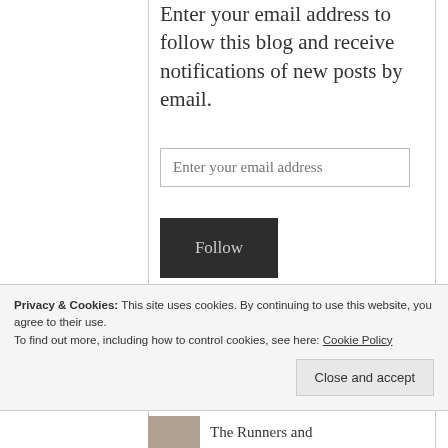Enter your email address to follow this blog and receive notifications of new posts by email.
[Figure (screenshot): Email input field with placeholder 'Enter your email address']
[Figure (screenshot): Dark Follow button]
Join 4,220 other followers
TOP POSTS
Privacy & Cookies: This site uses cookies. By continuing to use this website, you agree to their use.
To find out more, including how to control cookies, see here: Cookie Policy
[Figure (screenshot): Close and accept button]
The Runners and